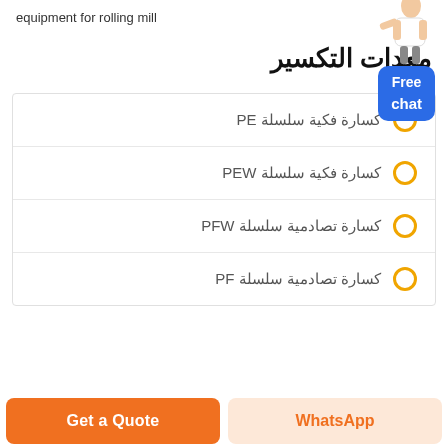equipment for rolling mill
معدات التكسير
كسارة فكية سلسلة PE
كسارة فكية سلسلة PEW
كسارة تصادمية سلسلة PFW
كسارة تصادمية سلسلة PF